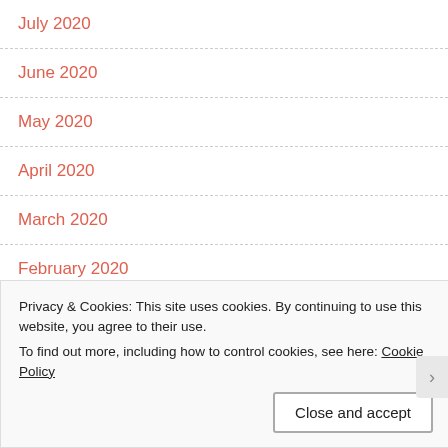July 2020
June 2020
May 2020
April 2020
March 2020
February 2020
January 2020
Privacy & Cookies: This site uses cookies. By continuing to use this website, you agree to their use.
To find out more, including how to control cookies, see here: Cookie Policy
Close and accept